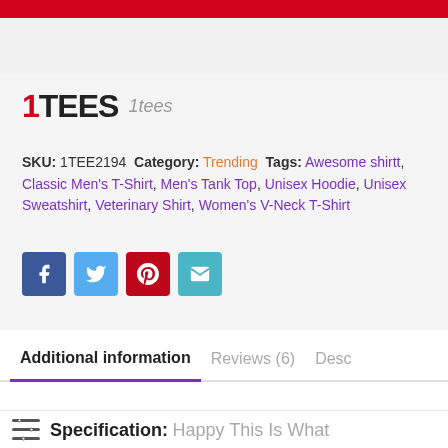[Figure (logo): 1TEES logo with red '1' and bold black 'TEES' text, followed by italic gray '1tees' text]
SKU: 1TEE2194 Category: Trending Tags: Awesome shirtt, Classic Men's T-Shirt, Men's Tank Top, Unisex Hoodie, Unisex Sweatshirt, Veterinary Shirt, Women's V-Neck T-Shirt
[Figure (infographic): Four social share buttons: Facebook (blue), Twitter (light blue), Pinterest (red), Email (teal)]
Additional information
Reviews (6)
Desc
Specification: Happy This Is What